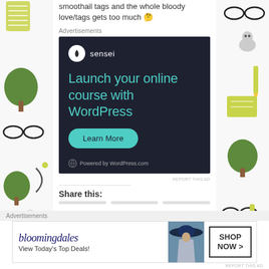smoothail tags and the whole bloody love/tags gets too much 🤔
Advertisements
[Figure (screenshot): Sensei advertisement: dark navy background with Sensei logo (white circle with tree icon), headline 'Launch your online course with WordPress' in teal/mint color, green 'Learn More' button, and 'Powered by WordPress.com' footer text.]
REPORT THIS AD
Share this:
Advertisements
[Figure (screenshot): Bloomingdale's advertisement banner with logo text in dark blue, tagline 'View Today's Top Deals!', a woman wearing a wide-brim hat, and a 'SHOP NOW >' button with black border.]